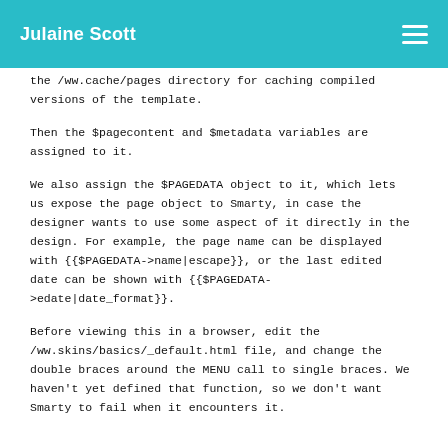Julaine Scott
the /ww.cache/pages directory for caching compiled versions of the template.
Then the $pagecontent and $metadata variables are assigned to it.
We also assign the $PAGEDATA object to it, which lets us expose the page object to Smarty, in case the designer wants to use some aspect of it directly in the design. For example, the page name can be displayed with {{$PAGEDATA->name|escape}}, or the last edited date can be shown with {{$PAGEDATA->edate|date_format}}.
Before viewing this in a browser, edit the /ww.skins/basics/_default.html file, and change the double braces around the MENU call to single braces. We haven't yet defined that function, so we don't want Smarty to fail when it encounters it.